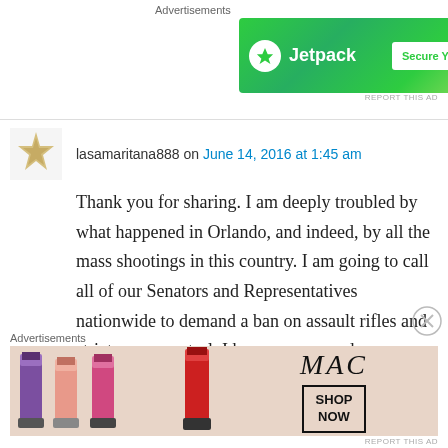[Figure (screenshot): Jetpack 'Secure Your Site' advertisement banner with green gradient background, lightning bolt logo on white circle, and white 'Secure Your Site' button]
lasamaritana888 on June 14, 2016 at 1:45 am
Thank you for sharing. I am deeply troubled by what happened in Orlando, and indeed, by all the mass shootings in this country. I am going to call all of our Senators and Representatives nationwide to demand a ban on assault rifles and stricter gun control. I hope anyone and everyone who agrees with me, will also call our elected officials. I've had enough of this.
[Figure (screenshot): MAC Cosmetics advertisement showing lipsticks and 'SHOP NOW' button]